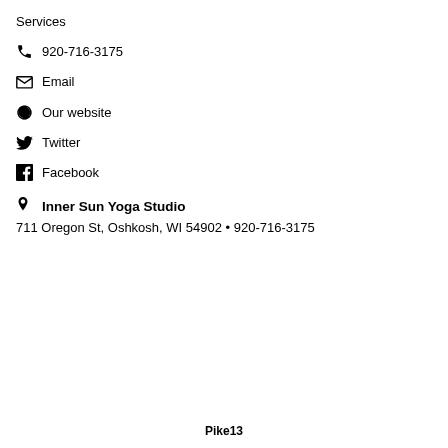Services
920-716-3175
Email
Our website
Twitter
Facebook
Inner Sun Yoga Studio
711 Oregon St, Oshkosh, WI 54902 • 920-716-3175
Pike13